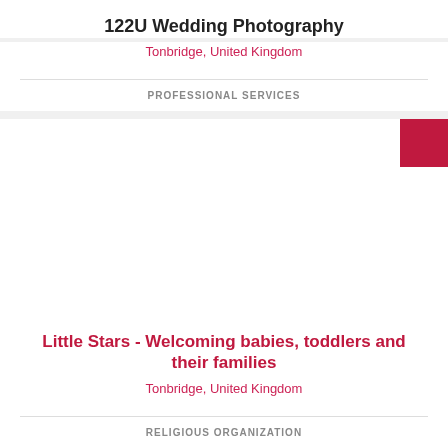122U Wedding Photography
Tonbridge, United Kingdom
PROFESSIONAL SERVICES
[Figure (photo): White/blank image placeholder area for 122U Wedding Photography with a dark red/crimson square thumbnail in the top right corner]
Little Stars - Welcoming babies, toddlers and their families
Tonbridge, United Kingdom
RELIGIOUS ORGANIZATION
[Figure (photo): Partial view of a third card with a dark red square thumbnail in the bottom right corner]